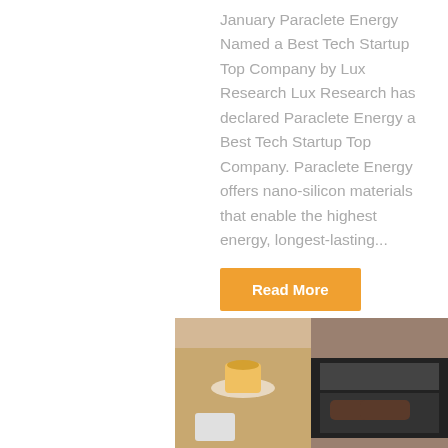January Paraclete Energy Named a Best Tech Startup Top Company by Lux Research Lux Research has declared Paraclete Energy a Best Tech Startup Top Company. Paraclete Energy offers nano-silicon materials that enable the highest energy, longest-lasting...
Read More
[Figure (photo): Orange circle button with upward arrow for scroll-to-top navigation]
[Figure (photo): Photo of a wooden desk with a coffee cup and a laptop with hands typing on the keyboard]